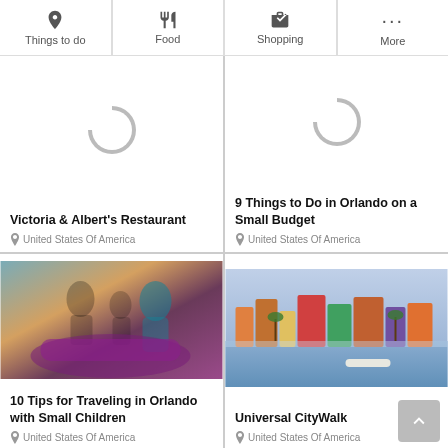Things to do | Food | Shopping | More
[Figure (screenshot): Card with loading spinner for Victoria & Albert's Restaurant]
Victoria & Albert's Restaurant
United States Of America
[Figure (screenshot): Card with loading spinner for 9 Things to Do in Orlando on a Small Budget]
9 Things to Do in Orlando on a Small Budget
United States Of America
[Figure (photo): Family riding bumper cars at an amusement park in Orlando]
10 Tips for Traveling in Orlando with Small Children
United States Of America
[Figure (photo): Aerial view of Universal CityWalk waterfront with colorful buildings]
Universal CityWalk
United States Of America